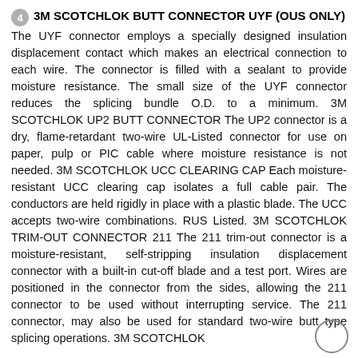4 3M SCOTCHLOK BUTT CONNECTOR UYF (OUS ONLY) The UYF connector employs a specially designed insulation displacement contact which makes an electrical connection to each wire. The connector is filled with a sealant to provide moisture resistance. The small size of the UYF connector reduces the splicing bundle O.D. to a minimum. 3M SCOTCHLOK UP2 BUTT CONNECTOR The UP2 connector is a dry, flame-retardant two-wire UL-Listed connector for use on paper, pulp or PIC cable where moisture resistance is not needed. 3M SCOTCHLOK UCC CLEARING CAP Each moisture-resistant UCC clearing cap isolates a full cable pair. The conductors are held rigidly in place with a plastic blade. The UCC accepts two-wire combinations. RUS Listed. 3M SCOTCHLOK TRIM-OUT CONNECTOR 211 The 211 trim-out connector is a moisture-resistant, self-stripping insulation displacement connector with a built-in cut-off blade and a test port. Wires are positioned in the connector from the sides, allowing the 211 connector to be used without interrupting service. The 211 connector, may also be used for standard two-wire butt type splicing operations. 3M SCOTCHLOK